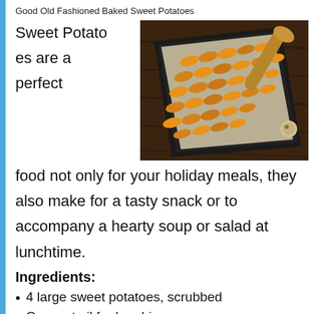Good Old Fashioned Baked Sweet Potatoes
[Figure (photo): Baked sweet potato slices arranged on a baking tray with a wooden spoon, photographed from above on a dark wooden surface]
Sweet Potatoes are a perfect food not only for your holiday meals, they also make for a tasty snack or to accompany a hearty soup or salad at lunchtime.
Ingredients:
4 large sweet potatoes, scrubbed
Coconut oil for brushing